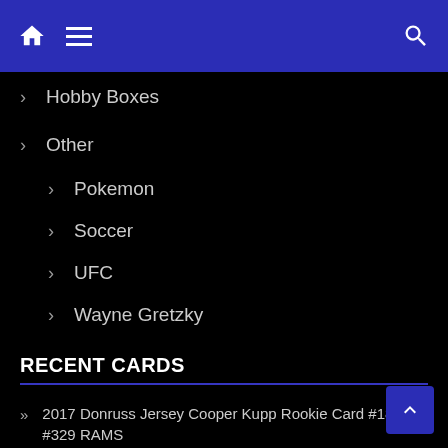Navigation bar with home, menu, and search icons
> Hobby Boxes
> Other
> Pokemon
> Soccer
> UFC
> Wayne Gretzky
RECENT CARDS
2017 Donruss Jersey Cooper Kupp Rookie Card #18 & #329 RAMS
2009 Sage Hit Matthew Stafford Rookie RC #59 Los Angeles Rams Georgia Bulldogs